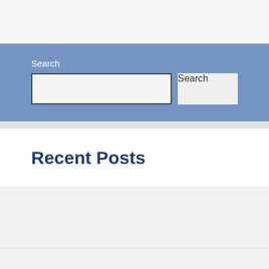Search
[Figure (screenshot): Search widget with a text input field and a Search button on a blue background]
Recent Posts